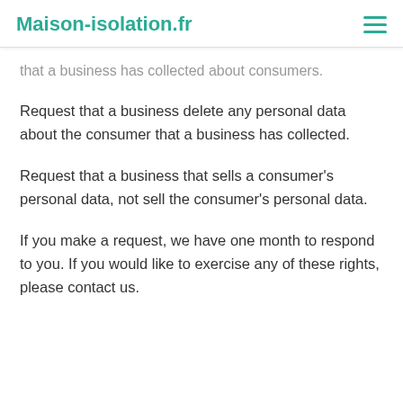Maison-isolation.fr
that a business has collected about consumers.
Request that a business delete any personal data about the consumer that a business has collected.
Request that a business that sells a consumer's personal data, not sell the consumer's personal data.
If you make a request, we have one month to respond to you. If you would like to exercise any of these rights, please contact us.